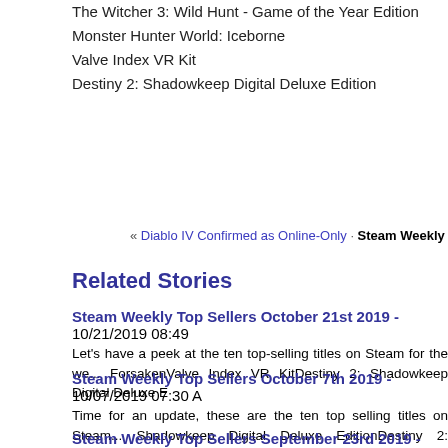The Witcher 3: Wild Hunt - Game of the Year Edition
Monster Hunter World: Iceborne
Valve Index VR Kit
Destiny 2: Shadowkeep Digital Deluxe Edition
« Diablo IV Confirmed as Online-Only · Steam Weekly Top Sellers November
Related Stories
Steam Weekly Top Sellers October 21st 2019 - 10/21/2019 08:49
Let's have a peek at the ten top-selling titles on Steam for the we... ForsakenValve Index VR KitDestiny 2: Shadowkeep Digital Deluxe E
Steam Weekly Top Sellers October 7th 2019 - 10/07/2019 07:30 A
Time for an update, these are the ten top selling titles on Steam... Shadowkeep Digital Deluxe EditionDestiny 2: ShadowkeepCube Wo
Steam Weekly Top Sellers September 23rd 2019 - 09/23/2019 08:...